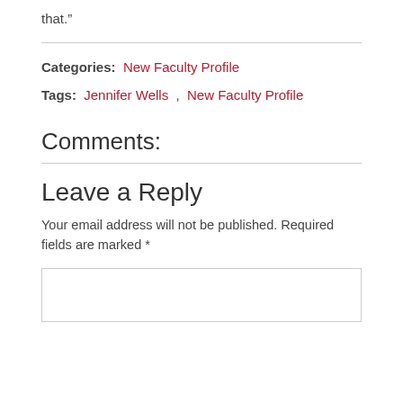that.”
Categories:  New Faculty Profile
Tags:  Jennifer Wells ,  New Faculty Profile
Comments:
Leave a Reply
Your email address will not be published. Required fields are marked *